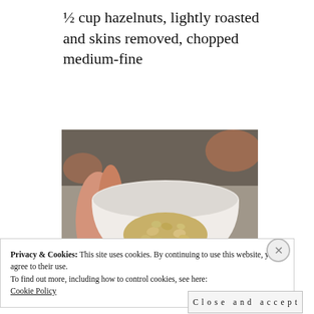½ cup hazelnuts, lightly roasted and skins removed, chopped medium-fine
[Figure (photo): A hand holding a white bowl filled with chopped, lightly roasted hazelnuts with skins removed, against an outdoor background.]
Privacy & Cookies: This site uses cookies. By continuing to use this website, you agree to their use.
To find out more, including how to control cookies, see here:
Cookie Policy
Close and accept